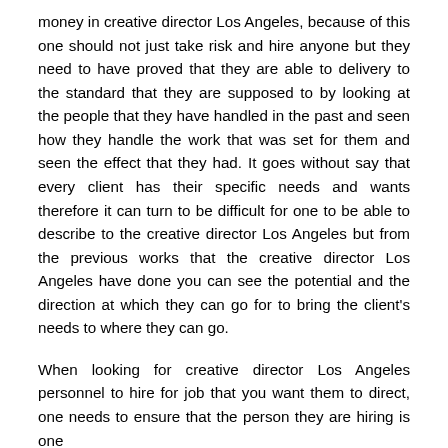money in creative director Los Angeles, because of this one should not just take risk and hire anyone but they need to have proved that they are able to delivery to the standard that they are supposed to by looking at the people that they have handled in the past and seen how they handle the work that was set for them and seen the effect that they had. It goes without say that every client has their specific needs and wants therefore it can turn to be difficult for one to be able to describe to the creative director Los Angeles but from the previous works that the creative director Los Angeles have done you can see the potential and the direction at which they can go for to bring the client's needs to where they can go.
When looking for creative director Los Angeles personnel to hire for job that you want them to direct, one needs to ensure that the person they are hiring is one